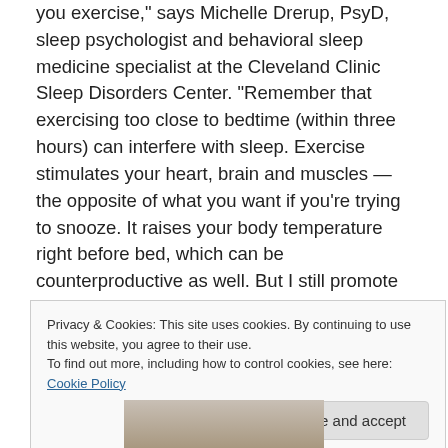you exercise," says Michelle Drerup, PsyD, sleep psychologist and behavioral sleep medicine specialist at the Cleveland Clinic Sleep Disorders Center. "Remember that exercising too close to bedtime (within three hours) can interfere with sleep. Exercise stimulates your heart, brain and muscles — the opposite of what you want if you're trying to snooze. It raises your body temperature right before bed, which can be counterproductive as well. But I still promote exercise for people with sleep problems, and here's why: Contrary to what most people think, exercise can help you sleep longer and more soundly, plus
Privacy & Cookies: This site uses cookies. By continuing to use this website, you agree to their use. To find out more, including how to control cookies, see here: Cookie Policy
Close and accept
[Figure (photo): Partial photo strip at the bottom of the page showing what appears to be a person.]